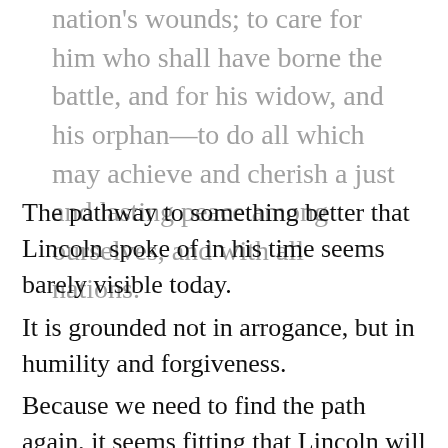nation's wounds; to care for him who shall have borne the battle, and for his widow, and his orphan—to do all which may achieve and cherish a just and lasting peace among ourselves, and with all nations.
The pathway to something better that Lincoln spoke of in his time seems barely visible today.
It is grounded not in arrogance, but in humility and forgiveness.
Because we need to find the path again, it seems fitting that Lincoln will fill our fields of